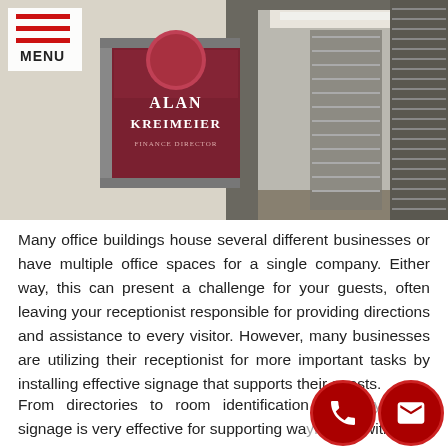[Figure (photo): Office door nameplate sign reading 'Alan Kreimeier Finance Director' mounted on a wall, with office interior with window blinds visible in background]
Many office buildings house several different businesses or have multiple office spaces for a single company. Either way, this can present a challenge for your guests, often leaving your receptionist responsible for providing directions and assistance to every visitor. However, many businesses are utilizing their receptionist for more important tasks by installing effective signage that supports their guests.
From directories to room identification signs, your signage is very effective for supporting wayfinding with a